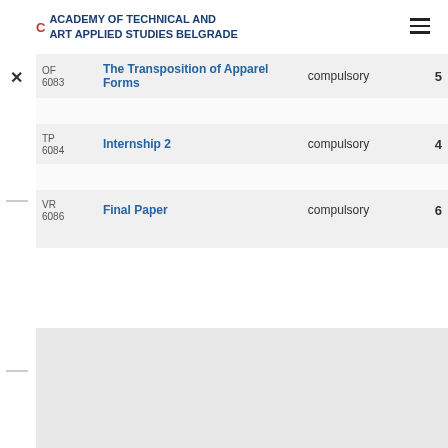ACADEMY OF TECHNICAL AND ART APPLIED STUDIES BELGRADE
| Code | Course Name | Type | Credits |
| --- | --- | --- | --- |
| OF
6083 | The Transposition of Apparel Forms | compulsory | 5 |
| TP
6084 | Internship 2 | compulsory | 4 |
| VR
6086 | Final Paper | compulsory | 6 |
ECTS credits per year  60